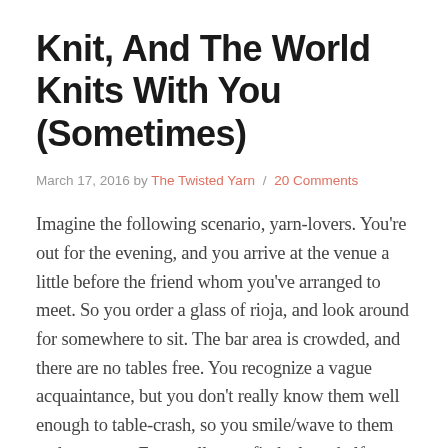Knit, And The World Knits With You (Sometimes)
March 17, 2016 by The Twisted Yarn / 20 Comments
Imagine the following scenario, yarn-lovers. You're out for the evening, and you arrive at the venue a little before the friend whom you've arranged to meet. So you order a glass of rioja, and look around for somewhere to sit. The bar area is crowded, and there are no tables free. You recognize a vague acquaintance, but you don't really know them well enough to table-crash, so you smile/wave to them and move on. Eventually you find a low shelf thingy at the back of the room, so you settle